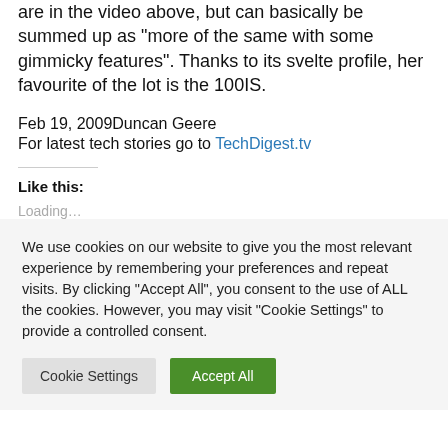are in the video above, but can basically be summed up as "more of the same with some gimmicky features". Thanks to its svelte profile, her favourite of the lot is the 100IS.
Feb 19, 2009Duncan Geere
For latest tech stories go to TechDigest.tv
Like this:
Loading…
We use cookies on our website to give you the most relevant experience by remembering your preferences and repeat visits. By clicking "Accept All", you consent to the use of ALL the cookies. However, you may visit "Cookie Settings" to provide a controlled consent.